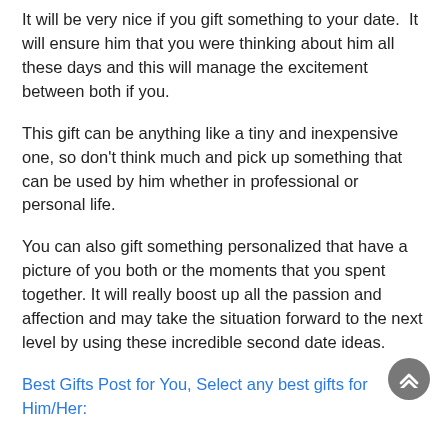It will be very nice if you gift something to your date.  It will ensure him that you were thinking about him all these days and this will manage the excitement between both if you.
This gift can be anything like a tiny and inexpensive one, so don't think much and pick up something that can be used by him whether in professional or personal life.
You can also gift something personalized that have a picture of you both or the moments that you spent together. It will really boost up all the passion and affection and may take the situation forward to the next level by using these incredible second date ideas.
Best Gifts Post for You, Select any best gifts for Him/Her: